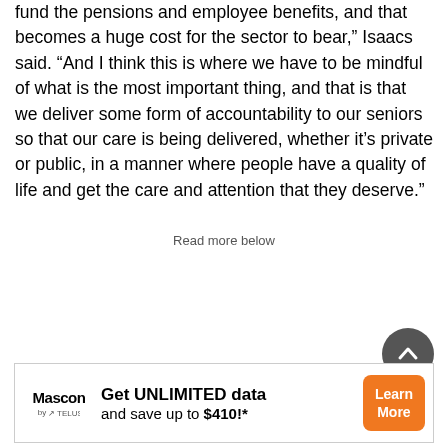fund the pensions and employee benefits, and that becomes a huge cost for the sector to bear,” Isaacs said. “And I think this is where we have to be mindful of what is the most important thing, and that is that we deliver some form of accountability to our seniors so that our care is being delivered, whether it’s private or public, in a manner where people have a quality of life and get the care and attention that they deserve.”
Read more below
[Figure (other): Circular scroll-to-top button with an upward chevron arrow, dark grey background]
[Figure (other): Mascon by TELUS advertisement banner: Get UNLIMITED data and save up to $410!* with a Learn More orange button]